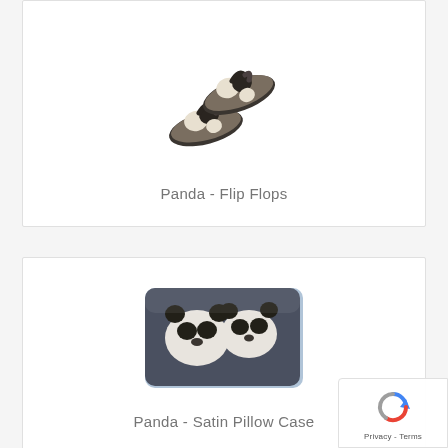[Figure (photo): Product card showing panda-printed flip flops on white background]
Panda - Flip Flops
[Figure (photo): Product card showing panda-printed satin pillow case on white background]
Panda - Satin Pillow Case